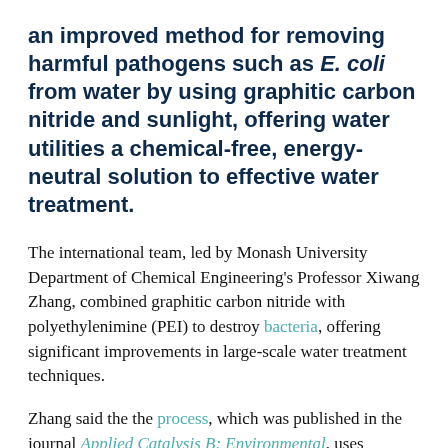an improved method for removing harmful pathogens such as E. coli from water by using graphitic carbon nitride and sunlight, offering water utilities a chemical-free, energy-neutral solution to effective water treatment.
The international team, led by Monash University Department of Chemical Engineering's Professor Xiwang Zhang, combined graphitic carbon nitride with polyethylenimine (PEI) to destroy bacteria, offering significant improvements in large-scale water treatment techniques.
Zhang said the the process, which was published in the journal Applied Catalysis B: Environmental, uses positively charged PEI on graphitic carbon nitrate to